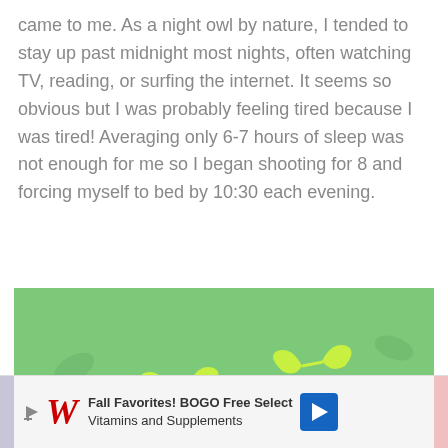came to me. As a night owl by nature, I tended to stay up past midnight most nights, often watching TV, reading, or surfing the internet. It seems so obvious but I was probably feeling tired because I was tired! Averaging only 6-7 hours of sleep was not enough for me so I began shooting for 8 and forcing myself to bed by 10:30 each evening.
[Figure (photo): Close-up photo of two gray running shoes with teal and yellow-green laces, placed on a green yoga mat with leaf pattern. A teal fitness tracker/wristband is visible in the lower left corner.]
Fall Favorites! BOGO Free Select Vitamins and Supplements